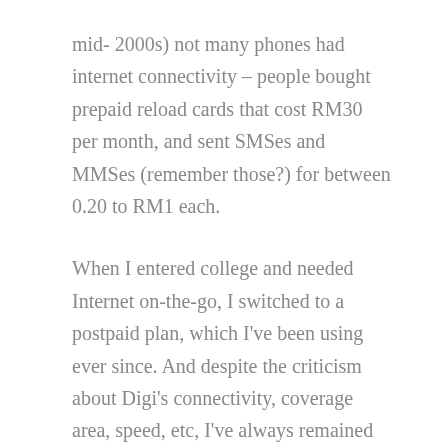mid- 2000s) not many phones had internet connectivity – people bought prepaid reload cards that cost RM30 per month, and sent SMSes and MMSes (remember those?) for between 0.20 to RM1 each.
When I entered college and needed Internet on-the-go, I switched to a postpaid plan, which I've been using ever since. And despite the criticism about Digi's connectivity, coverage area, speed, etc, I've always remained loyal to the brand, because a) It has worked for my needs, most of the time (keyword here being MOST of the time. But more on this later.) and b)Digi provides the